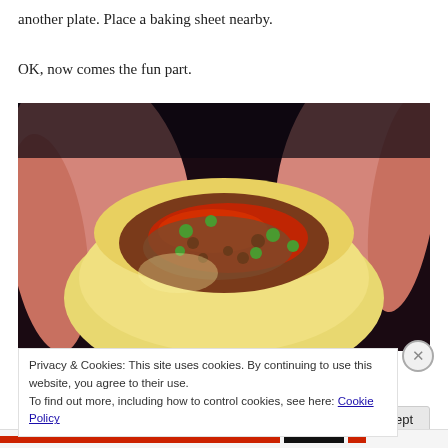another plate. Place a baking sheet nearby.
OK, now comes the fun part.
[Figure (photo): Hands holding a dough or mashed potato cup filled with ground meat, peas, and red tomato sauce — a stuffed food item being assembled.]
Privacy & Cookies: This site uses cookies. By continuing to use this website, you agree to their use.
To find out more, including how to control cookies, see here: Cookie Policy
Close and accept